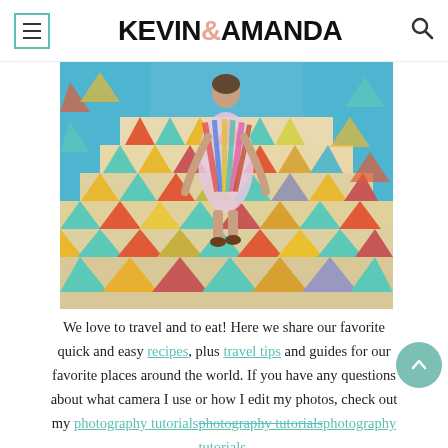KEVIN & AMANDA
[Figure (photo): A person walking up colorful painted stairs with triangle geometric patterns in blue, teal, orange, red, and yellow. The person is wearing a flowing multicolored dress/skirt, viewed from behind.]
We love to travel and to eat! Here we share our favorite quick and easy recipes, plus travel tips and guides for our favorite places around the world. If you have any questions about what camera I use or how I edit my photos, check out my photography tutorials.